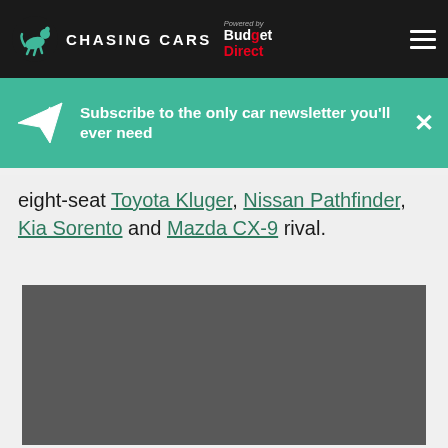CHASING CARS — Powered by Budget Direct
Subscribe to the only car newsletter you'll ever need
eight-seat Toyota Kluger, Nissan Pathfinder, Kia Sorento and Mazda CX-9 rival.
[Figure (photo): Dark grey placeholder image block]